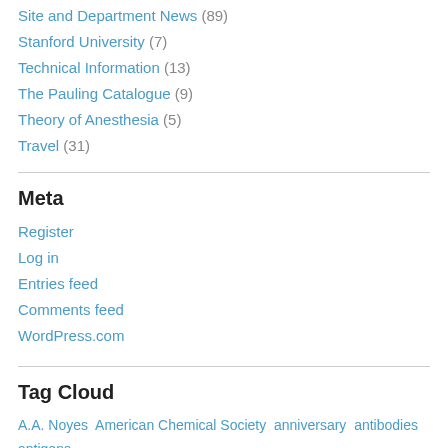Site and Department News (89)
Stanford University (7)
Technical Information (13)
The Pauling Catalogue (9)
Theory of Anesthesia (5)
Travel (31)
Meta
Register
Log in
Entries feed
Comments feed
WordPress.com
Tag Cloud
A.A. Noyes  American Chemical Society  anniversary  antibodies  antigens